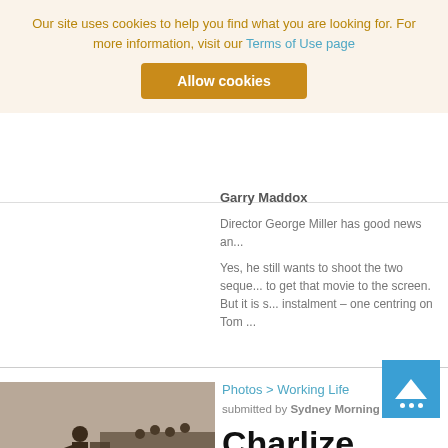Our site uses cookies to help you find what you are looking for. For more information, visit our Terms of Use page
Allow cookies
Garry Maddox
Director George Miller has good news an...
Yes, he still wants to shoot the two seque... to get that movie to the screen. But it is s... instalment – one centring on Tom ...
[Figure (photo): Action scene from Mad Max: Fury Road showing fighters on a vehicle in a desert setting]
Photos > Working Life
submitted by Sydney Morning Hera...
Charlize Ther... as Furiosa: Ph... Roland Warn...